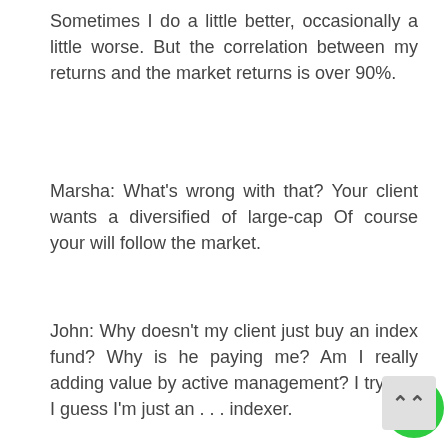Sometimes I do a little better, occasionally a little worse. But the correlation between my returns and the market returns is over 90%.
Marsha: What’s wrong with that? Your client wants a diversified of large-cap Of course your will follow the market.
John: Why doesn’t my client just buy an index fund? Why is he paying me? Am I really adding value by active management? I try, but I guess I’m just an . . . indexer.
Marsha: Oh, John, I know you’re adding value. You were a star